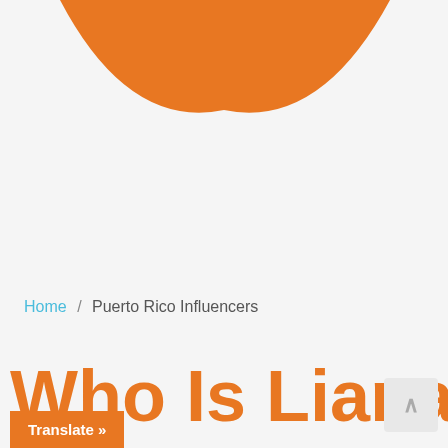[Figure (logo): Orange logo shape — partial view of a smiling face or swoosh logo in orange color, cropped at top of page]
Home / Puerto Rico Influencers
Who Is Liana